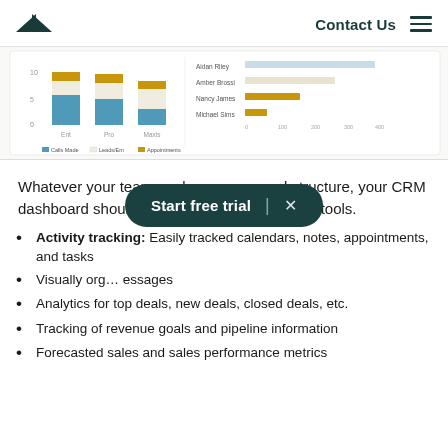Contact Us
[Figure (screenshot): CRM dashboard screenshot showing stacked bar charts (Calls Made, Leads/Em, Appointments) on the left and a horizontal bar chart by agent name (Amber Brossi, Nancy James, Michael Sims) on the right.]
Whatever your team goals, process, and structure, your CRM dashboard should provide the following CRM tools.
Activity tracking: Easily tracked calendars, notes, appointments, and tasks
Visually org… essages
Analytics for top deals, new deals, closed deals, etc.
Tracking of revenue goals and pipeline information
Forecasted sales and sales performance metrics